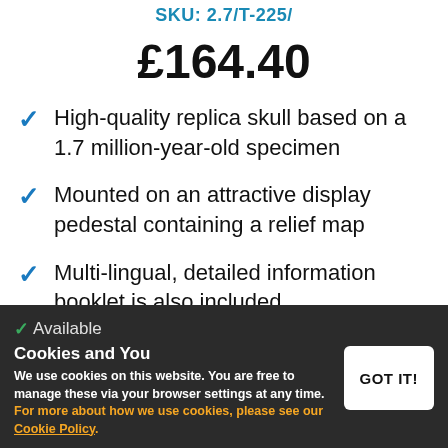SKU: 2.7/T-225/
£164.40
High-quality replica skull based on a 1.7 million-year-old specimen
Mounted on an attractive display pedestal containing a relief map
Multi-lingual, detailed information booklet is also included
Great tool for teaching and learning about early human species
Available
Cookies and You
We use cookies on this website. You are free to manage these via your browser settings at any time. For more about how we use cookies, please see our Cookie Policy.